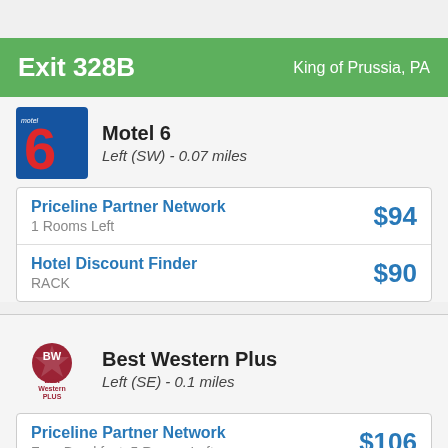Exit 328B — King of Prussia, PA
[Figure (logo): Motel 6 logo — blue background with large red number 6]
Motel 6
Left (SW) - 0.07 miles
| Provider | Price |
| --- | --- |
| Priceline Partner Network
1 Rooms Left | $94 |
| Hotel Discount Finder
RACK | $90 |
[Figure (logo): Best Western Plus logo]
Best Western Plus
Left (SE) - 0.1 miles
| Provider | Price |
| --- | --- |
| Priceline Partner Network
Free Breakfast; 5 Rooms Left | $106 |
| Hotel Discount Finder | Loading |